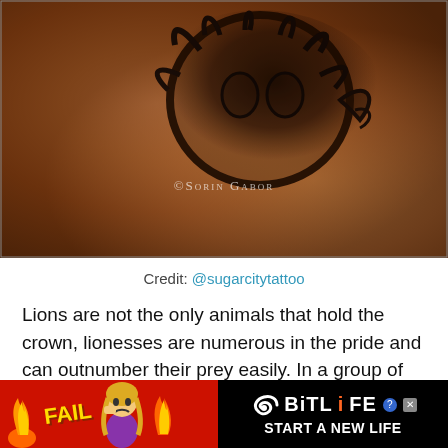[Figure (photo): Close-up photograph of a lion/lioness tattoo on dark skin, shoulder area. Watermark reads ©Sorin Gabor in white text.]
Credit: @sugarcitytattoo
Lions are not the only animals that hold the crown, lionesses are numerous in the pride and can outnumber their prey easily. In a group of powerful lionesses, nothing can escape. With that in mind, lions are not the only ones that can wear the crown, lionesses
[Figure (screenshot): BitLife advertisement banner with red background, FAIL text, cartoon woman, flames, and BitLife logo with START A NEW LIFE text on black background.]